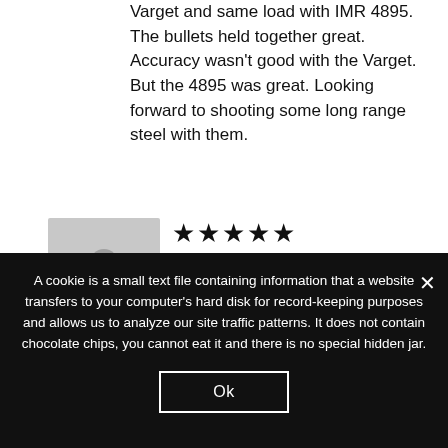Varget and same load with IMR 4895. The bullets held together great. Accuracy wasn't good with the Varget. But the 4895 was great. Looking forward to shooting some long range steel with them.
[Figure (illustration): Grey placeholder avatar image showing a silhouette of a person (head and shoulders)]
★★★★★ Douglas k Pettit (verified owner) – May 8, 2020 Loading these with mp-300 , loading at 2.00 long and they are running perfect ,
A cookie is a small text file containing information that a website transfers to your computer's hard disk for record-keeping purposes and allows us to analyze our site traffic patterns. It does not contain chocolate chips, you cannot eat it and there is no special hidden jar.